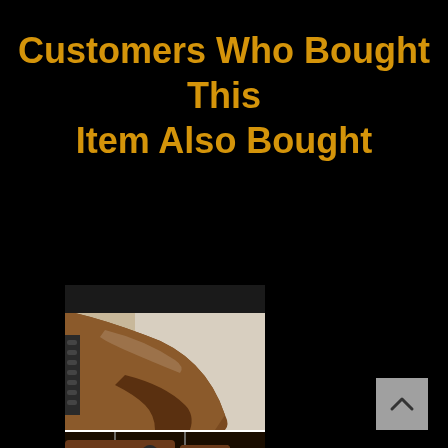Customers Who Bought This Item Also Bought
[Figure (photo): Close-up photos of a Longteam Alloy Guitar Capo with simulated wood grain finish, shown from multiple angles on a guitar neck]
Longteam Alloy Guitar Capo, Simulated Wood Grain